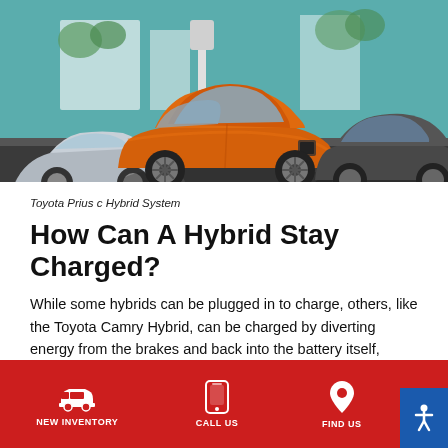[Figure (photo): Toyota Prius c and other hybrid vehicles parked in a row, with an orange Toyota Prius c prominently in the center, a silver car on the left, and a dark SUV on the right. Teal/turquoise background with charging infrastructure visible.]
Toyota Prius c Hybrid System
How Can A Hybrid Stay Charged?
While some hybrids can be plugged in to charge, others, like the Toyota Camry Hybrid, can be charged by diverting energy from the brakes and back into the battery itself, providing a constant source of energy with which to charge it. This constant source of charging the
NEW INVENTORY   CALL US   FIND US